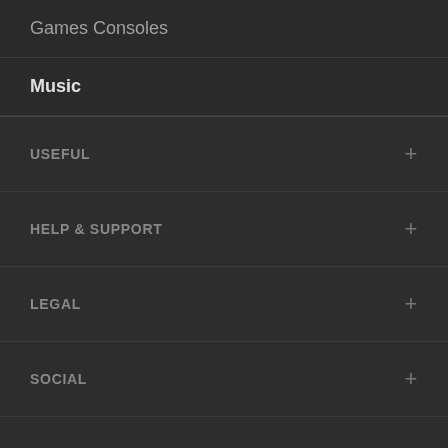Games Consoles
Music
USEFUL
HELP & SUPPORT
LEGAL
SOCIAL
DecluttrStore
Copyright © Decluttr.com 2015 - 2022 All rights reserved